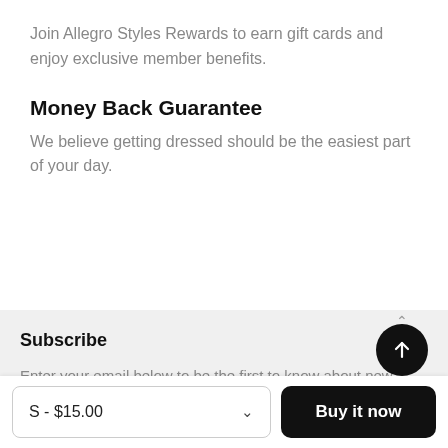Join Allegro Styles Rewards to earn gift cards and enjoy exclusive member benefits.
Money Back Guarantee
We believe getting dressed should be the easiest part of your day.
Subscribe
Enter your email below to be the first to know about new